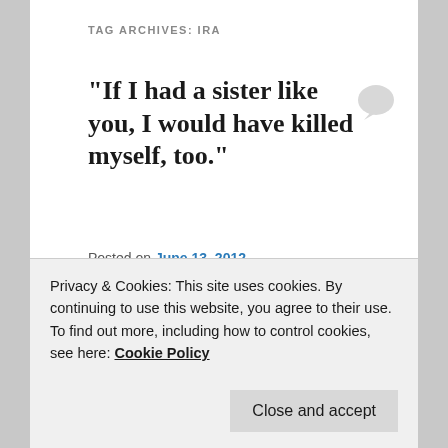TAG ARCHIVES: IRA
“If I had a sister like you, I would have killed myself, too.”
Posted on June 13, 2012
Those South Boston folks have a way of cutting to the heart of the matter.
However, with Connors’s reference to the 1984 death of her
Privacy & Cookies: This site uses cookies. By continuing to use this website, you agree to their use.
To find out more, including how to control cookies, see here: Cookie Policy
Close and accept
psychiatric counseling after her brother shot himself to death.